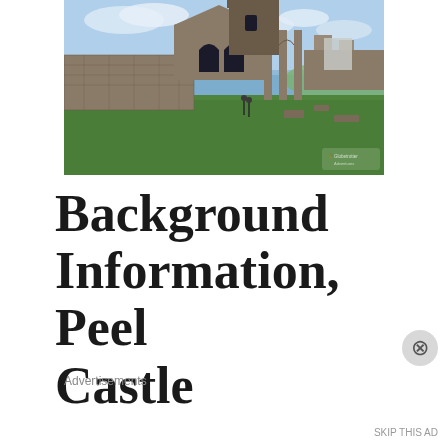[Figure (photo): Aerial view of Peel Castle ruins on the Isle of Man, showing stone walls, arched windows, a tower, and green grass, with water visible in the background under a cloudy sky.]
Background Information, Peel Castle
Advertisements